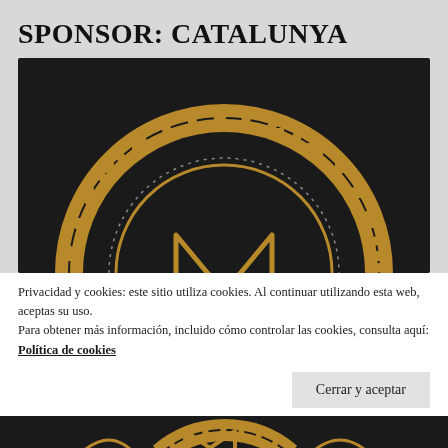SPONSOR: CATALUNYA
[Figure (logo): Dark circular logo with gold ornamental border and stylized M letter in center on dark background]
Privacidad y cookies: este sitio utiliza cookies. Al continuar utilizando esta web, aceptas su uso.
Para obtener más información, incluido cómo controlar las cookies, consulta aquí:
Política de cookies
Cerrar y aceptar
[Figure (logo): Partial dark image at bottom with gold decorative elements, same logo partially visible]